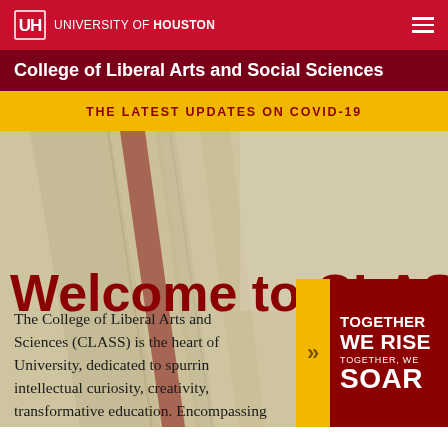UNIVERSITY OF HOUSTON
College of Liberal Arts and Social Sciences
THE LATEST UPDATES ON COVID-19
[Figure (screenshot): University of Houston CLASS website hero section with architectural background showing diagonal lines on stone/concrete columns]
Welcome to CLASS
The College of Liberal Arts and Sciences (CLASS) is the heart of University, dedicated to spurring intellectual curiosity, creativity, transformative education. Encompassing
TOGETHER WE RISE TOGETHER, WE SOAR